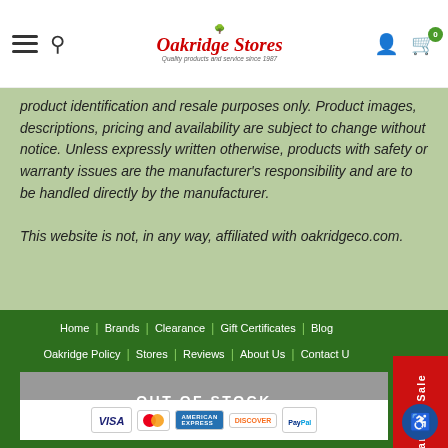[Figure (logo): Oakridge Stores logo with tree graphic, red italic text, tagline 'Quality products and service since 1987']
product identification and resale purposes only. Product images, descriptions, pricing and availability are subject to change without notice. Unless expressly written otherwise, products with safety or warranty issues are the manufacturer's responsibility and are to be handled directly by the manufacturer.

This website is not, in any way, affiliated with oakridgeco.com.
Home | Brands | Clearance | Gift Certificates | Blog
Oakridge Policy | Stores | Reviews | About Us | Contact Us
OUT OF STOCK
[Figure (other): Payment method logos: VISA, MasterCard, American Express, Discover, PayPal]
Clearance Sale